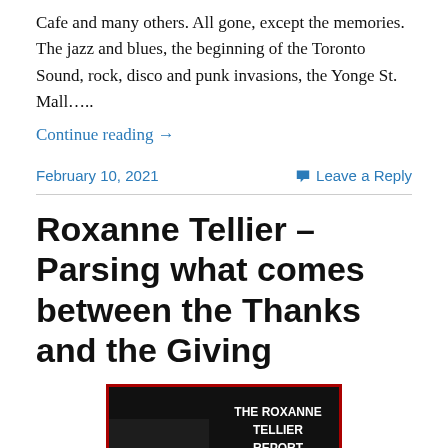Cafe and many others. All gone, except the memories. The jazz and blues, the beginning of the Toronto Sound, rock, disco and punk invasions, the Yonge St. Mall…..
Continue reading →
February 10, 2021
Leave a Reply
Roxanne Tellier – Parsing what comes between the Thanks and the Giving
[Figure (photo): Book or report cover image with red border, dark background, and white text reading 'THE ROXANNE TELLIER REPORT']